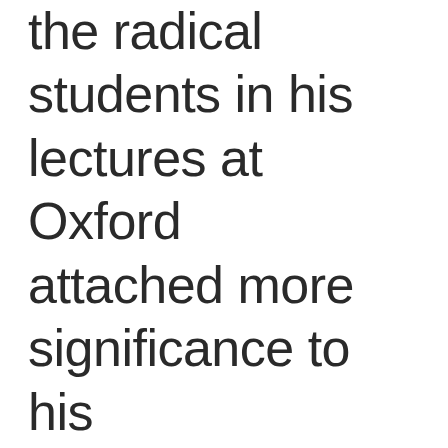the radical students in his lectures at Oxford attached more significance to his statement than he did—and it didn't take it long to filter